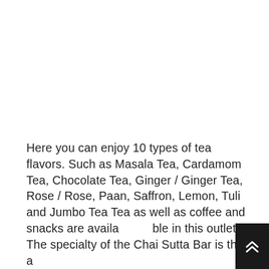Here you can enjoy 10 types of tea flavors. Such as Masala Tea, Cardamom Tea, Chocolate Tea, Ginger / Ginger Tea, Rose / Rose, Paan, Saffron, Lemon, Tuli and Jumbo Tea Tea as well as coffee and snacks are available in this outlet. The specialty of the Chai Sutta Bar is that a